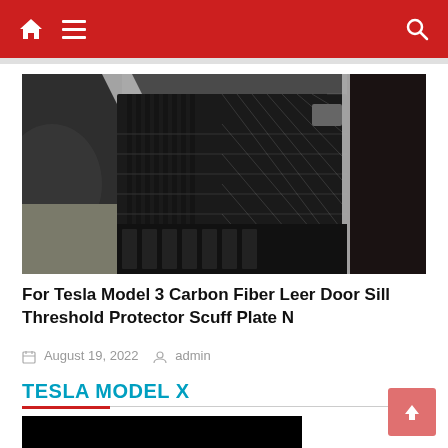Navigation bar with home icon, menu, and search
[Figure (photo): Close-up photo of a carbon fiber door sill threshold protector scuff plate for Tesla Model 3, showing dark carbon fiber texture with ridges and metallic chrome edge trim strip]
For Tesla Model 3 Carbon Fiber Leer Door Sill Threshold Protector Scuff Plate N
August 19, 2022   admin
TESLA MODEL X
[Figure (photo): Partially visible black image at bottom of page]